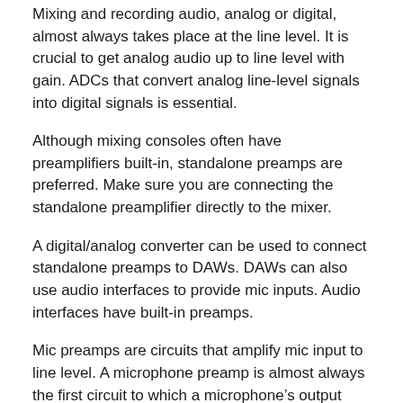Mixing and recording audio, analog or digital, almost always takes place at the line level. It is crucial to get analog audio up to line level with gain. ADCs that convert analog line-level signals into digital signals is essential.
Although mixing consoles often have preamplifiers built-in, standalone preamps are preferred. Make sure you are connecting the standalone preamplifier directly to the mixer.
A digital/analog converter can be used to connect standalone preamps to DAWs. DAWs can also use audio interfaces to provide mic inputs. Audio interfaces have built-in preamps.
Mic preamps are circuits that amplify mic input to line level. A microphone preamp is almost always the first circuit to which a microphone’s output signal is exposed.